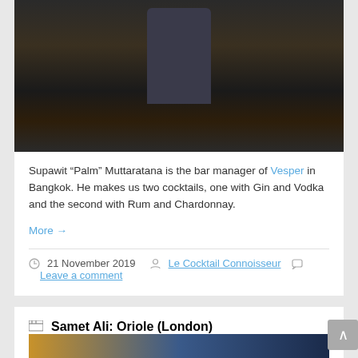[Figure (photo): A bartender standing behind a dark bar counter in a dimly lit bar setting]
Supawit "Palm" Muttaratana is the bar manager of Vesper in Bangkok. He makes us two cocktails, one with Gin and Vodka and the second with Rum and Chardonnay.
More →
21 November 2019  Le Cocktail Connoisseur  Leave a comment
Samet Ali: Oriole (London)